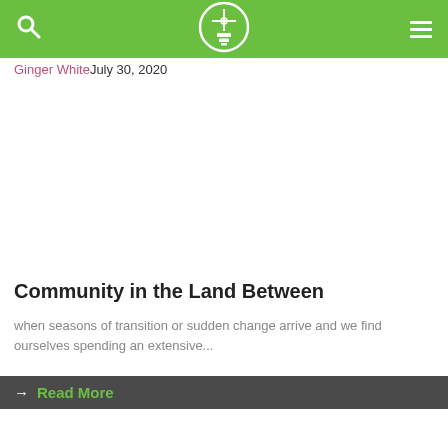Ginger White July 30, 2020
[Figure (logo): Website logo in a circle with a cross/compass symbol and stacked rectangles below, white on green header bar]
Ginger WhiteJuly 30, 2020
Community in the Land Between
when seasons of transition or sudden change arrive and we find ourselves spending an extensive...
→ Read More